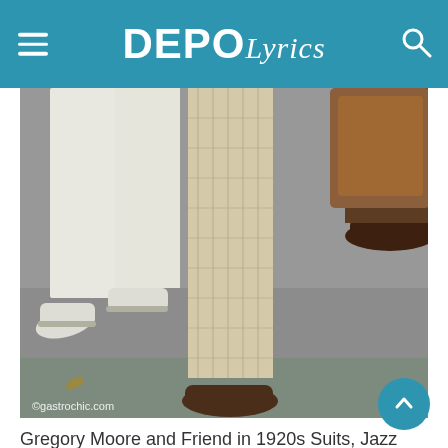DEPO Lyrics
[Figure (photo): Close-up photo of the lower halves of two people walking on pavement, wearing 1920s-style suits. One person wears white trousers and white shoes, the other wears plaid trousers and dark brown oxford shoes. A third person in dark brown dress shoes is partially visible on the right. Watermark reads ©gastropchic.com]
Gregory Moore and Friend in 1920s Suits, Jazz Age Lawn